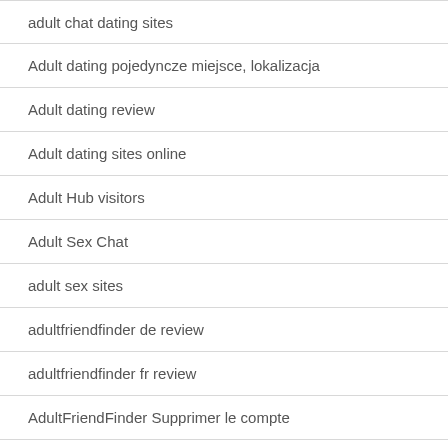adult chat dating sites
Adult dating pojedyncze miejsce, lokalizacja
Adult dating review
Adult dating sites online
Adult Hub visitors
Adult Sex Chat
adult sex sites
adultfriendfinder de review
adultfriendfinder fr review
AdultFriendFinder Supprimer le compte